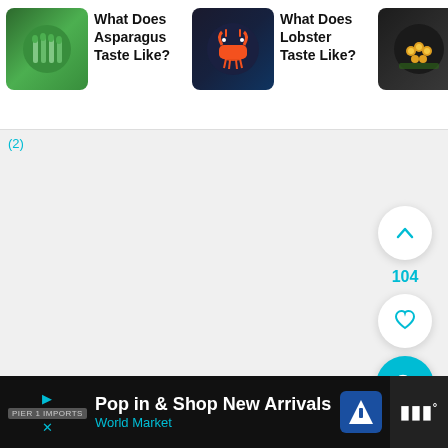[Figure (screenshot): Card strip showing three food articles with thumbnail images and titles: 'What Does Asparagus Taste Like?', 'What Does Lobster Taste Like?', 'What Does Caviar Taste Like?']
(2)
[Figure (infographic): Main content area with floating action buttons: upvote chevron button, count '104', heart/like button, and cyan search button]
[Figure (screenshot): Advertisement bar: 'Pop in & Shop New Arrivals - World Market' with play/close icons, navigation icon, and weather widget area]